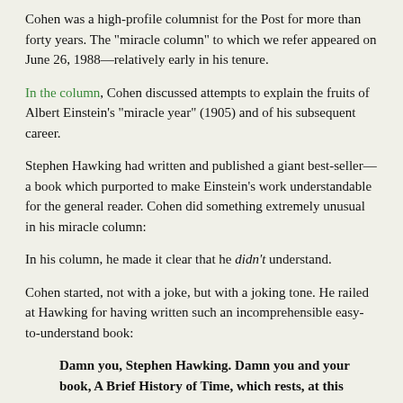Cohen was a high-profile columnist for the Post for more than forty years. The "miracle column" to which we refer appeared on June 26, 1988—relatively early in his tenure.
In the column, Cohen discussed attempts to explain the fruits of Albert Einstein's "miracle year" (1905) and of his subsequent career.
Stephen Hawking had written and published a giant best-seller—a book which purported to make Einstein's work understandable for the general reader. Cohen did something extremely unusual in his miracle column:
In his column, he made it clear that he didn't understand.
Cohen started, not with a joke, but with a joking tone. He railed at Hawking for having written such an incomprehensible easy-to-understand book:
Damn you, Stephen Hawking. Damn you and your book, A Brief History of Time, which rests, at this writing, on the best-seller lists and which has been praised as lucid, accessible, containing only one